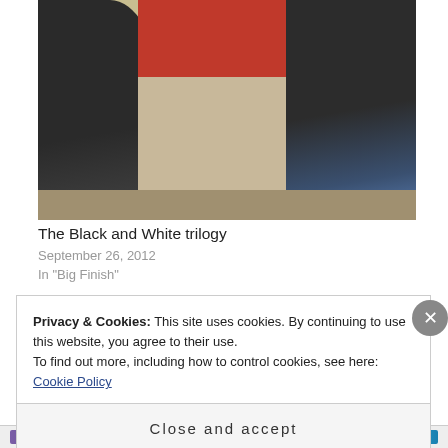[Figure (photo): A photograph of three people standing together. The person on the left wears a dark leather jacket. The person in the center is wearing a red top/jacket. The person on the right also wears a dark leather jacket with blue jeans. They appear to be standing in an indoor location.]
The Black and White trilogy
September 26, 2012
In "Big Finish"
Privacy & Cookies: This site uses cookies. By continuing to use this website, you agree to their use.
To find out more, including how to control cookies, see here: Cookie Policy
Close and accept